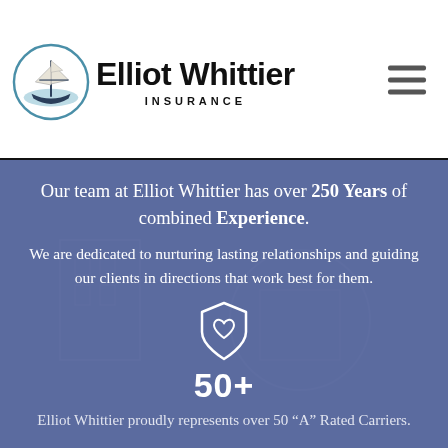[Figure (logo): Elliot Whittier Insurance logo with a sailing ship illustration and company name]
Our team at Elliot Whittier has over 250 Years of combined Experience.
We are dedicated to nurturing lasting relationships and guiding our clients in directions that work best for them.
[Figure (illustration): Shield with heart icon]
50+
Elliot Whittier proudly represents over 50 “A” Rated Carriers.